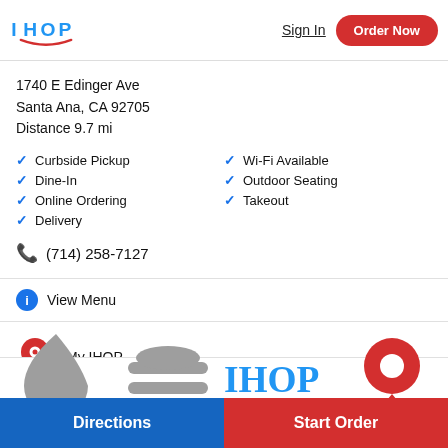[Figure (logo): IHOP logo in blue with red smile arc]
Sign In
Order Now
1740 E Edinger Ave
Santa Ana, CA 92705
Distance 9.7 mi
Curbside Pickup
Dine-In
Online Ordering
Delivery
Wi-Fi Available
Outdoor Seating
Takeout
(714) 258-7127
View Menu
My IHOP
Directions
Start Order